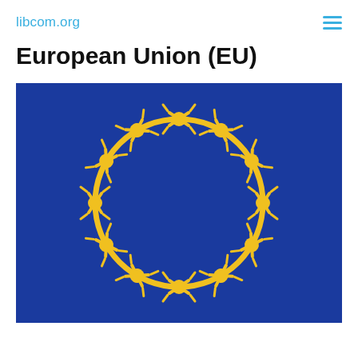libcom.org
European Union (EU)
[Figure (illustration): An illustration styled like the EU flag: a dark blue rectangle background with a circle of barbed wire rendered in yellow/gold in place of the traditional circle of stars. The barbed wire forms a complete ring, referencing the EU flag design but with barbed wire instead of stars, suggesting a critical commentary on EU border/migration policy.]